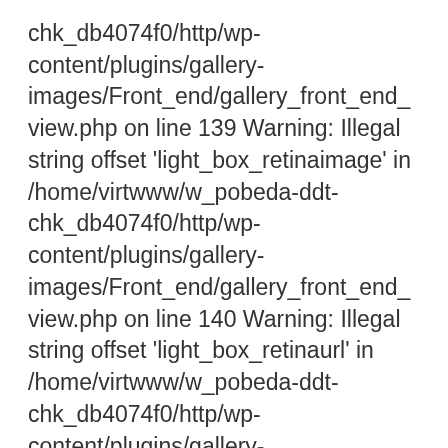chk_db4074f0/http/wp-content/plugins/gallery-images/Front_end/gallery_front_end_view.php on line 139 Warning: Illegal string offset 'light_box_retinaimage' in /home/virtwww/w_pobeda-ddt-chk_db4074f0/http/wp-content/plugins/gallery-images/Front_end/gallery_front_end_view.php on line 140 Warning: Illegal string offset 'light_box_retinaurl' in /home/virtwww/w_pobeda-ddt-chk_db4074f0/http/wp-content/plugins/gallery-images/Front_end/gallery_front_end_view.php on line 141 Warning: Illegal string offset 'light_box_retinasuffix' in /home/virtwww/w_pobeda-ddt-chk_db4074f0/http/wp-content/plugins/gallery-